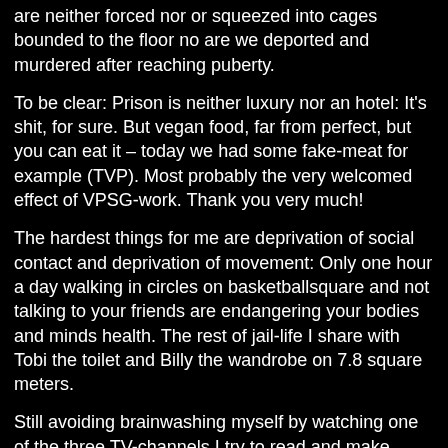are neither forced nor or squeezed into cages bounded to the floor no are we deported and murdered after reaching puberty.
To be clear: Prison is neither luxury nor an hotel: It's shit, for sure. But vegan food, far from perfect, but you can eat it – today we had some fake-meat for example (TVP). Most probably the very welcomed effect of VPSG-work. Thank you very much!
The hardest things for me are deprivation of social contact and deprivation of movement: Only one hour a day walking in circles on basketballsquare and not talking to your friends are endangering your bodies and minds health. The rest of jail-life I share with Tobi the toilet and Billy the wandrobe on 7.8 square meters.
Still avoiding brainwashing myself by watching one of the three TV-channels I try to read and make sports as much as possible. But I have to assert, that motivation for doing anything actively goes down! That's no good sign.
Nevertheless there is certainity that we will come out one day for sure and there is hope that we can carry on animal rights work together soon!